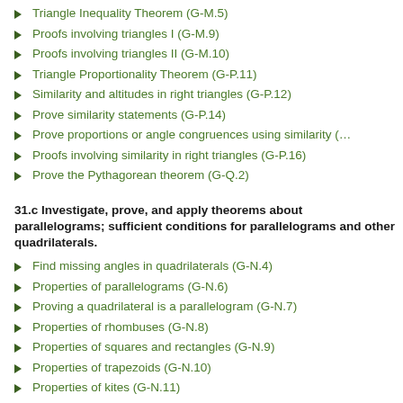Triangle Inequality Theorem (G-M.5)
Proofs involving triangles I (G-M.9)
Proofs involving triangles II (G-M.10)
Triangle Proportionality Theorem (G-P.11)
Similarity and altitudes in right triangles (G-P.12)
Prove similarity statements (G-P.14)
Prove proportions or angle congruences using similarity (…)
Proofs involving similarity in right triangles (G-P.16)
Prove the Pythagorean theorem (G-Q.2)
31.c Investigate, prove, and apply theorems about parallelograms; sufficient conditions for parallelograms and other quadrilaterals.
Find missing angles in quadrilaterals (G-N.4)
Properties of parallelograms (G-N.6)
Proving a quadrilateral is a parallelogram (G-N.7)
Properties of rhombuses (G-N.8)
Properties of squares and rectangles (G-N.9)
Properties of trapezoids (G-N.10)
Properties of kites (G-N.11)